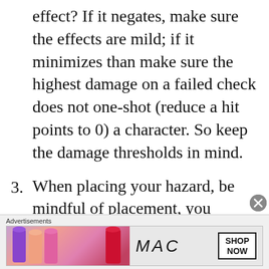effect? If it negates, make sure the effects are mild; if it minimizes than make sure the highest damage on a failed check does not one-shot (reduce a hit points to 0) a character. So keep the damage thresholds in mind.
3. When placing your hazard, be mindful of placement, you should never make it more than 60-70% of the available space (there are exceptions). The larger the space of the hazards, saving throws are preferred with minor
[Figure (other): Advertisement banner for MAC cosmetics showing lipsticks and a SHOP NOW button]